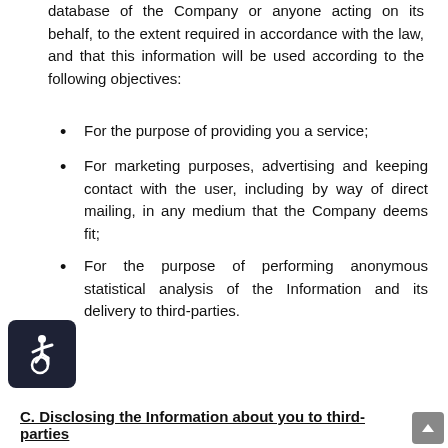database of the Company or anyone acting on its behalf, to the extent required in accordance with the law, and that this information will be used according to the following objectives:
For the purpose of providing you a service;
For marketing purposes, advertising and keeping contact with the user, including by way of direct mailing, in any medium that the Company deems fit;
For the purpose of performing anonymous statistical analysis of the Information and its delivery to third-parties.
[Figure (logo): Accessibility icon — white wheelchair user symbol on dark navy rounded square background]
C. Disclosing the Information about you to third-parties